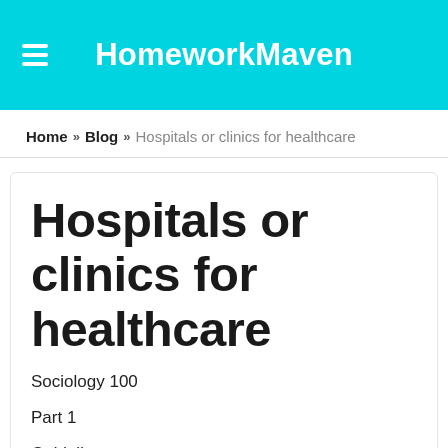HomeworkMaven
Home » Blog » Hospitals or clinics for healthcare
Hospitals or clinics for healthcare
Sociology 100
Part 1
Guidelines: